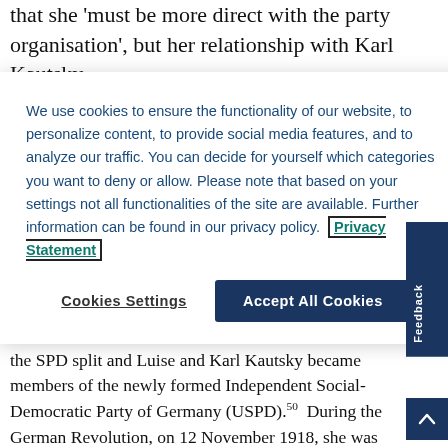that she 'must be more direct with the party organisation', but her relationship with Karl Kautsky
We use cookies to ensure the functionality of our website, to personalize content, to provide social media features, and to analyze our traffic. You can decide for yourself which categories you want to deny or allow. Please note that based on your settings not all functionalities of the site are available. Further information can be found in our privacy policy. Privacy Statement
Cookies Settings
Accept All Cookies
was as a member of the SPD's Education Committee of Greater Berlin between 1911 and 1917.49 In April 1917, the SPD split and Luise and Karl Kautsky became members of the newly formed Independent Social-Democratic Party of Germany (USPD).50 During the German Revolution, on 12 November 1918, she was assigned by Hugo Haase to work in the new socialist government as the 'highest political oversight of monitoring the Central Telegraph Office'.51 However